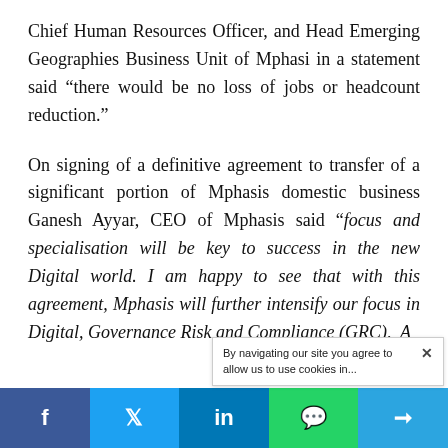Chief Human Resources Officer, and Head Emerging Geographies Business Unit of Mphasi in a statement said “there would be no loss of jobs or headcount reduction.”
On signing of a definitive agreement to transfer of a significant portion of Mphasis domestic business Ganesh Ayyar, CEO of Mphasis said “focus and specialisation will be key to success in the new Digital world. I am happy to see that with this agreement, Mphasis will further intensify our focus in Digital, Governance Risk and Compliance (GRC), A…
[Figure (other): Cookie consent notice overlay with close X button, text: 'By navigating our site you agree to allow us to use cookies in...']
[Figure (other): Social share bar with Facebook, Twitter, LinkedIn, WhatsApp, and Telegram buttons]